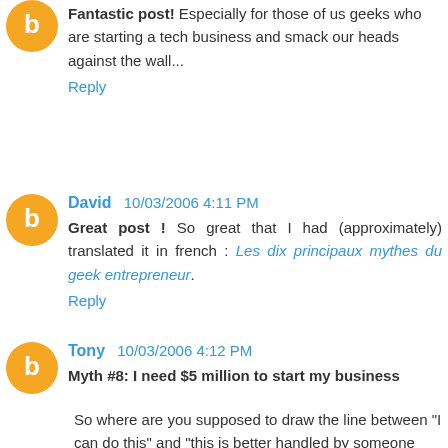Fantastic post! Especially for those of us geeks who are starting a tech business and smack our heads against the wall...
Reply
David 10/03/2006 4:11 PM
Great post ! So great that I had (approximately) translated it in french : Les dix principaux mythes du geek entrepreneur.
Reply
Tony 10/03/2006 4:12 PM
Myth #8: I need $5 million to start my business
So where are you supposed to draw the line between "I can do this" and "this is better handled by someone else"?
I've met many people faced with the problem that they're